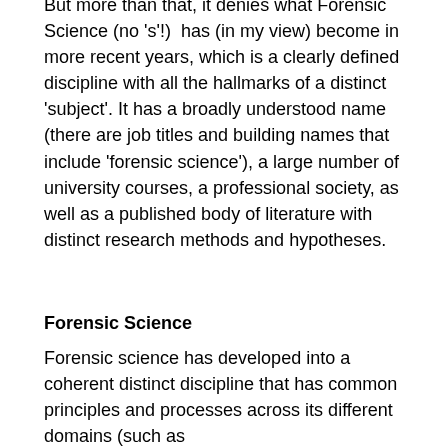But more than that, it denies what Forensic Science (no 's'!)  has (in my view) become in more recent years, which is a clearly defined discipline with all the hallmarks of a distinct 'subject'. It has a broadly understood name (there are job titles and building names that include 'forensic science'), a large number of university courses, a professional society, as well as a published body of literature with distinct research methods and hypotheses.
Forensic Science
Forensic science has developed into a coherent distinct discipline that has common principles and processes across its different domains (such as